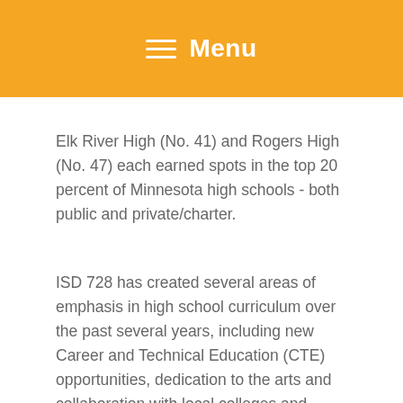Menu
Elk River High (No. 41) and Rogers High (No. 47) each earned spots in the top 20 percent of Minnesota high schools - both public and private/charter.
ISD 728 has created several areas of emphasis in high school curriculum over the past several years, including new Career and Technical Education (CTE) opportunities, dedication to the arts and collaboration with local colleges and universities.
Our high schools remain dedicated to getting all students career and college ready. The pandemic has also put an emphasis on personal relationships